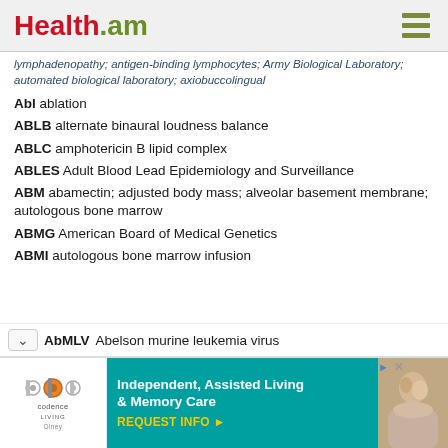Health.am
lymphadenopathy; antigen-binding lymphocytes; Army Biological Laboratory; automated biological laboratory; axiobuccolingual
Abl  ablation
ABLB  alternate binaural loudness balance
ABLC  amphotericin B lipid complex
ABLES  Adult Blood Lead Epidemiology and Surveillance
ABM  abamectin; adjusted body mass; alveolar basement membrane; autologous bone marrow
ABMG  American Board of Medical Genetics
ABMI  autologous bone marrow infusion
AbMLV  Abelson murine leukemia virus
[Figure (infographic): Codence Living advertisement banner: Independent, Assisted Living & Memory Care. REQUEST INFO arrow. Shows elderly couple photo.]